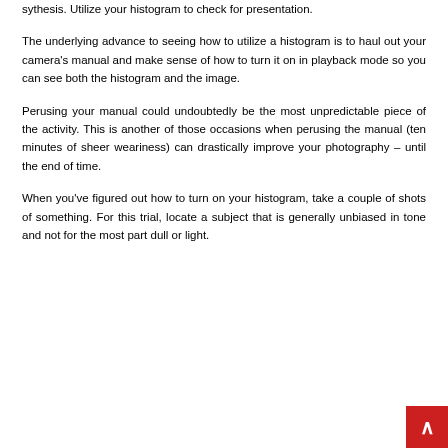sythesis. Utilize your histogram to check for presentation.
The underlying advance to seeing how to utilize a histogram is to haul out your camera's manual and make sense of how to turn it on in playback mode so you can see both the histogram and the image.
Perusing your manual could undoubtedly be the most unpredictable piece of the activity. This is another of those occasions when perusing the manual (ten minutes of sheer weariness) can drastically improve your photography – until the end of time.
When you've figured out how to turn on your histogram, take a couple of shots of something. For this trial, locate a subject that is generally unbiased in tone and not for the most part dull or light.